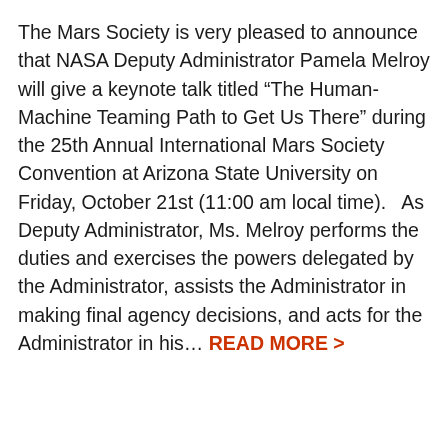The Mars Society is very pleased to announce that NASA Deputy Administrator Pamela Melroy will give a keynote talk titled “The Human-Machine Teaming Path to Get Us There” during the 25th Annual International Mars Society Convention at Arizona State University on Friday, October 21st (11:00 am local time).   As Deputy Administrator, Ms. Melroy performs the duties and exercises the powers delegated by the Administrator, assists the Administrator in making final agency decisions, and acts for the Administrator in his… READ MORE >